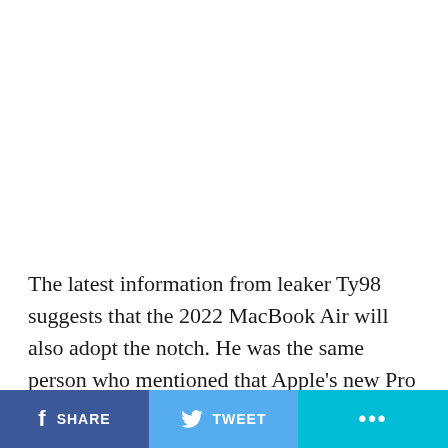The latest information from leaker Ty98 suggests that the 2022 MacBook Air will also adopt the notch. He was the same person who mentioned that Apple's new Pro laptops would include this change in design. He also suggests that the new laptop will look better and slimmer, as the current wedge design would go out the window in favor of a new concept that will transition
SHARE | TWEET | ...